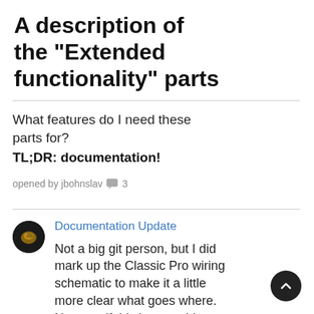A description of the "Extended functionality" parts
What features do I need these parts for?
TL;DR: documentation!
opened by jbohnslav 💬 3
Documentation Update
Not a big git person, but I did mark up the Classic Pro wiring schematic to make it a little more clear what goes where. Not sure if this is something